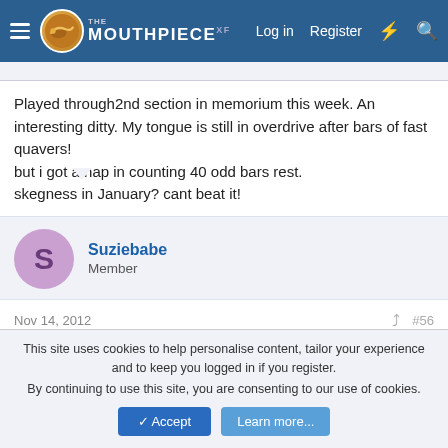The Mouthpiece | Log in  Register
Played through2nd section in memorium this week. An interesting ditty. My tongue is still in overdrive after bars of fast quavers!
but i got a nap in counting 40 odd bars rest.
skegness in January? cant beat it!
Suziebabe
Member
Nov 14, 2012  #56
I am going but not playing as my band dont do Butlins 😕 will have a drink for you all instead 🙂
This site uses cookies to help personalise content, tailor your experience and to keep you logged in if you register.
By continuing to use this site, you are consenting to our use of cookies.